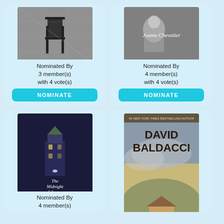[Figure (photo): Book cover image: empty chair by window in black and white]
Nominated By
3 member(s)
with 4 vote(s)
NOMINATE
[Figure (photo): Book cover: Joanie Chevalier with baby photo in black and white]
Nominated By
4 member(s)
with 4 vote(s)
NOMINATE
[Figure (photo): Book cover: The Midnight Library by Matt Haig]
Nominated By
4 member(s)
[Figure (photo): Book cover: Wish You Well by David Baldacci, #1 New York Times Bestselling Author]